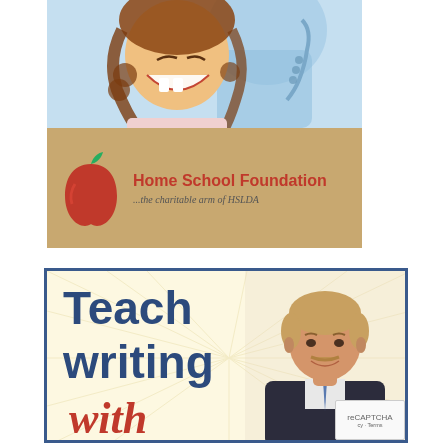[Figure (photo): Top advertisement banner for Home School Foundation (the charitable arm of HSLDA). Top half shows a laughing girl with curly hair and an adult holding a chain in the background. Bottom half has a tan/kraft paper background with a red apple logo and the text 'Home School Foundation ... the charitable arm of HSLDA'.]
[Figure (photo): Bottom advertisement for a writing program. Cream/yellow background with radiating star burst. Left side shows text 'Teach writing with' in dark blue and red italic. Right side shows a headshot of a middle-aged man in a suit and tie smiling.]